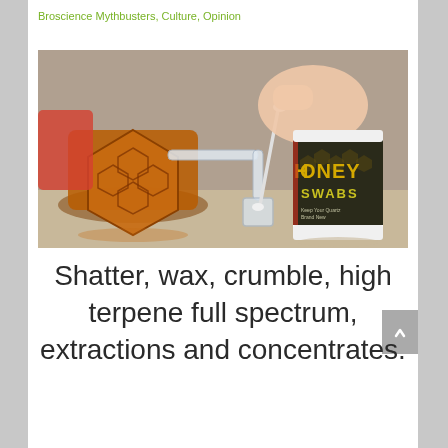Broscience Mythbusters, Culture, Opinion
[Figure (photo): A person using a cotton swab to clean a glass dab rig banger/nail. On the right side is a container of 'Honey Swabs' with red, black, and gold branding. A honeycomb-patterned amber glass water pipe is visible on the left.]
Shatter, wax, crumble, high terpene full spectrum, extractions and concentrates.